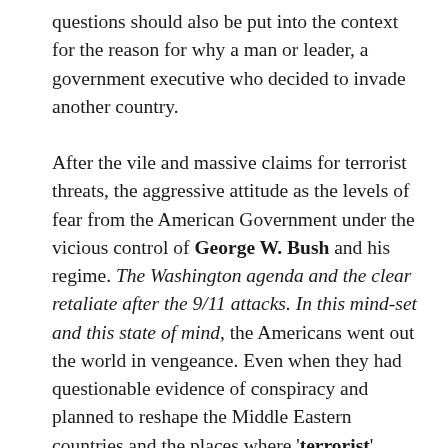questions should also be put into the context for the reason for why a man or leader, a government executive who decided to invade another country.
After the vile and massive claims for terrorist threats, the aggressive attitude as the levels of fear from the American Government under the vicious control of George W. Bush and his regime. The Washington agenda and the clear retaliate after the 9/11 attacks. In this mind-set and this state of mind, the Americans went out the world in vengeance. Even when they had questionable evidence of conspiracy and planned to reshape the Middle Eastern countries and the places where 'terrorist'